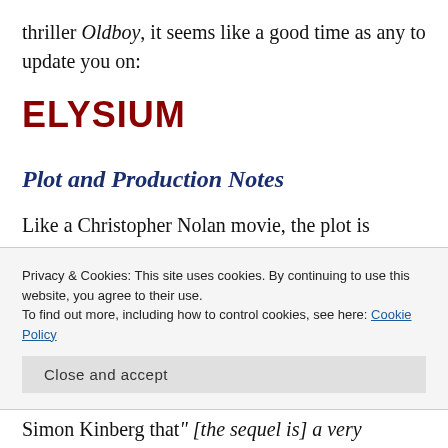thriller Oldboy, it seems like a good time as any to update you on:
ELYSIUM
Plot and Production Notes
Like a Christopher Nolan movie, the plot is shrouded in secrecy. Per Deadline, the movie
Privacy & Cookies: This site uses cookies. By continuing to use this website, you agree to their use.
To find out more, including how to control cookies, see here: Cookie Policy
Simon Kinberg that " [the sequel is] a very